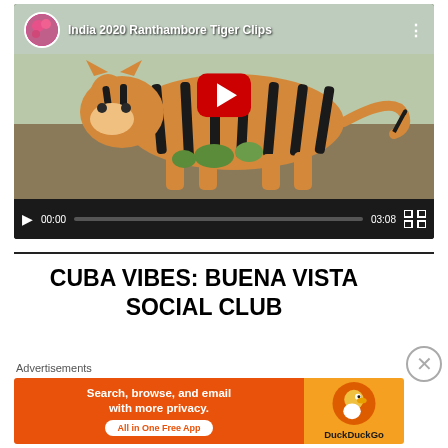[Figure (screenshot): YouTube video player showing 'India 2020 Ranthambore Tiger Clips' with a tiger walking in a natural habitat. Video controls show 00:00 / 03:08 with a progress bar.]
CUBA VIBES: BUENA VISTA SOCIAL CLUB
Advertisements
[Figure (screenshot): DuckDuckGo advertisement banner: 'Search, browse, and email with more privacy. All in One Free App' with DuckDuckGo duck logo on orange background.]